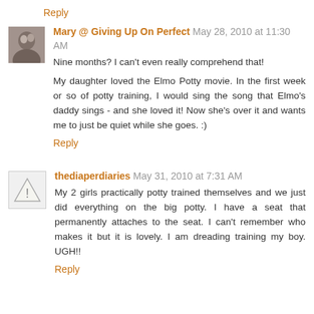Reply
Mary @ Giving Up On Perfect May 28, 2010 at 11:30 AM
Nine months? I can't even really comprehend that!
My daughter loved the Elmo Potty movie. In the first week or so of potty training, I would sing the song that Elmo's daddy sings - and she loved it! Now she's over it and wants me to just be quiet while she goes. :)
Reply
thediaperdiaries May 31, 2010 at 7:31 AM
My 2 girls practically potty trained themselves and we just did everything on the big potty. I have a seat that permanently attaches to the seat. I can't remember who makes it but it is lovely. I am dreading training my boy. UGH!!
Reply